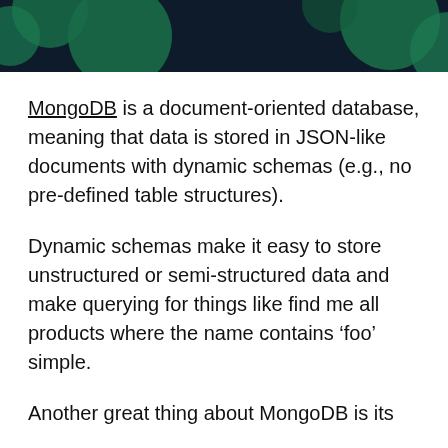[Figure (illustration): Decorative header banner with dark navy background and green geometric/circular shapes on left and right sides]
MongoDB is a document-oriented database, meaning that data is stored in JSON-like documents with dynamic schemas (e.g., no pre-defined table structures).
Dynamic schemas make it easy to store unstructured or semi-structured data and make querying for things like find me all products where the name contains ‘foo’ simple.
Another great thing about MongoDB is its